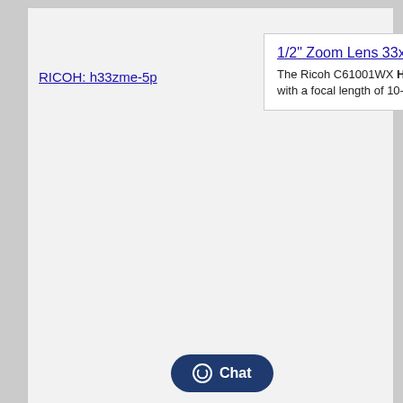RICOH: h33zme-5p
1/2" Zoom Lens 33x
The Ricoh C61001WX H33ZME-5P is a lens with a focal length of 10-330mm w
RICOH: h55zbme-2f-hd
12.0 - 1680.0mm Zoom Lens Auto-Iris VS
The RICOH H55ZBME-2F-HD is a Zoom motors, 55x, with full HD resolution (108 extender, with preset, iris override, with and...
|  |  |
| --- | --- |
| Format | 1/2" |
| Mount | C |
| Focal Length | 12.0 - 1… |
|  | …oo |